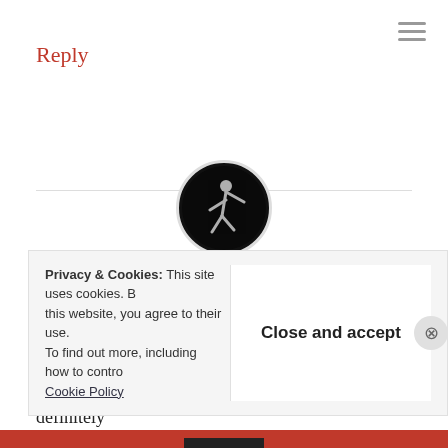Reply
[Figure (photo): Circular avatar photo of a person dancing/performing against a dark background]
Jordon Cloud
August 12, 2011 at 4:03 pm
Very interesting post!
My blog started as a school assignment and I definitely
Privacy & Cookies: This site uses cookies. By continuing to use this website, you agree to their use. To find out more, including how to control cookies, see here: Cookie Policy
Close and accept